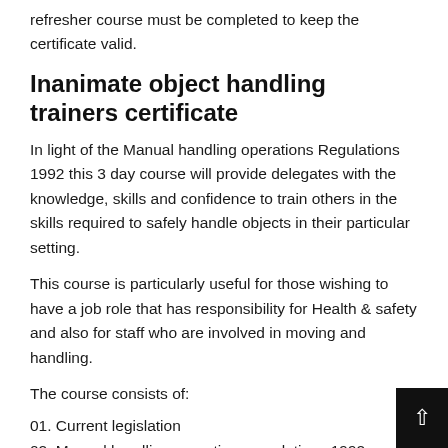refresher course must be completed to keep the certificate valid.
Inanimate object handling trainers certificate
In light of the Manual handling operations Regulations 1992 this 3 day course will provide delegates with the knowledge, skills and confidence to train others in the skills required to safely handle objects in their particular setting.
This course is particularly useful for those wishing to have a job role that has responsibility for Health & safety and also for staff who are involved in moving and handling.
The course consists of:
01. Current legislation
02. Manual handling operations regulations 1992
03. Risk...